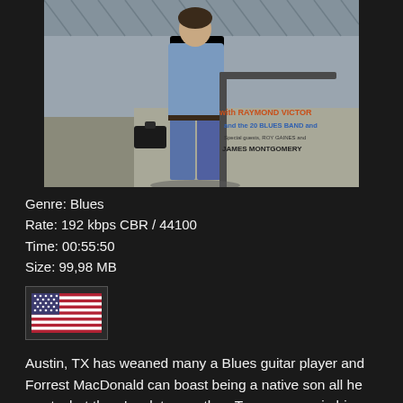[Figure (photo): Album cover photo: man in blue shirt and jeans leaning on a railing, holding a briefcase, with text on wall reading 'with RAYMOND VICTOR and the 20 BLUES BAND and Special guests ROY GAINES and JAMES MONTGOMERY']
Genre: Blues
Rate: 192 kbps CBR / 44100
Time: 00:55:50
Size: 99,98 MB
[Figure (illustration): American flag icon]
Austin, TX has weaned many a Blues guitar player and Forrest MacDonald can boast being a native son all he wants, but there's a lot more than Texas grease in his latest